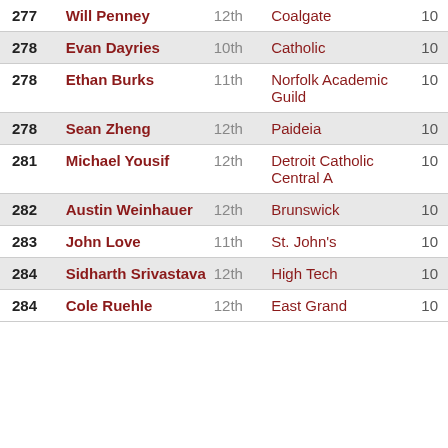| Rank | Name | Grade | School | Points |
| --- | --- | --- | --- | --- |
| 277 | Will Penney | 12th | Coalgate | 10 |
| 278 | Evan Dayries | 10th | Catholic | 10 |
| 278 | Ethan Burks | 11th | Norfolk Academic Guild | 10 |
| 278 | Sean Zheng | 12th | Paideia | 10 |
| 281 | Michael Yousif | 12th | Detroit Catholic Central A | 10 |
| 282 | Austin Weinhauer | 12th | Brunswick | 10 |
| 283 | John Love | 11th | St. John's | 10 |
| 284 | Sidharth Srivastava | 12th | High Tech | 10 |
| 284 | Cole Ruehle | 12th | East Grand | 10 |